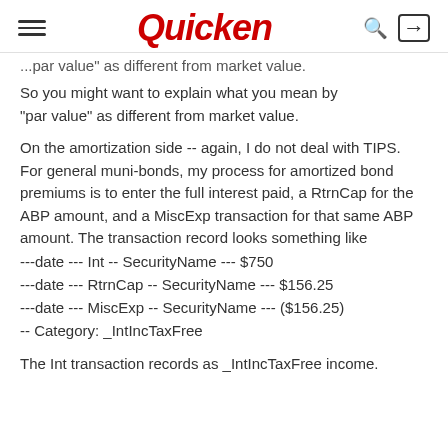Quicken
...par value" as different from market value.
So you might want to explain what you mean by "par value" as different from market value.
On the amortization side -- again, I do not deal with TIPS.  For general muni-bonds, my process for amortized bond premiums is to enter the full interest paid, a RtrnCap for the ABP amount, and a MiscExp transaction for that same ABP amount. The transaction record looks something like
---date --- Int -- SecurityName --- $750
---date --- RtrnCap -- SecurityName --- $156.25
---date --- MiscExp -- SecurityName --- ($156.25)
-- Category: _IntIncTaxFree
The Int transaction records as _IntIncTaxFree income.